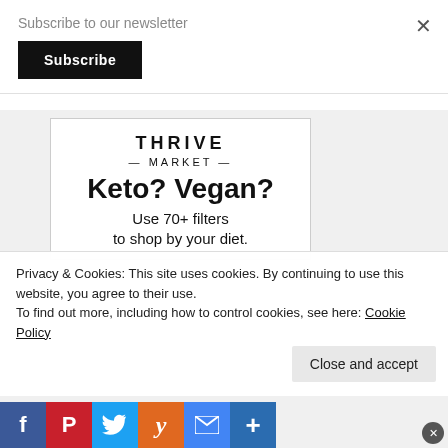Subscribe to our newsletter
Subscribe
[Figure (infographic): Thrive Market advertisement. Logo reads 'THRIVE MARKET'. Headline: 'Keto? Vegan? Use 70+ filters to shop by your diet.']
Privacy & Cookies: This site uses cookies. By continuing to use this website, you agree to their use.
To find out more, including how to control cookies, see here: Cookie Policy
Close and accept